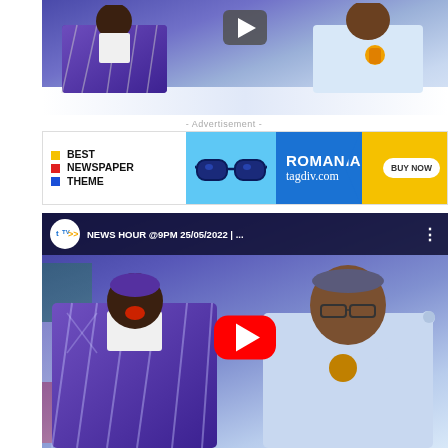[Figure (screenshot): Top video thumbnail showing two men at a broadcast desk - one wearing purple agbada on the left, one in white on the right, with a play button overlay in the upper center]
- Advertisement -
[Figure (screenshot): Advertisement banner for 'Best Newspaper Theme - Romania tagdiv.com' with sunglasses graphic, blue and yellow color scheme, and BUY NOW button]
[Figure (screenshot): YouTube embed thumbnail showing 'NEWS HOUR @9PM 25/05/2022' with tTV logo, two men including one in purple agbada and one pointing, with YouTube red play button overlay]